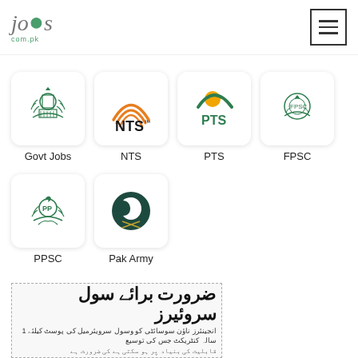jobs.com.pk
[Figure (logo): Govt Jobs logo - government emblem in green]
Govt Jobs
[Figure (logo): NTS logo - orange arc lines with NTS text]
NTS
[Figure (logo): PTS logo - yellow sun with green arc and PTS text]
PTS
[Figure (logo): FPSC logo - government seal in green]
FPSC
[Figure (logo): PPSC logo - Punjab Public Service Commission emblem in green]
PPSC
[Figure (logo): Pak Army logo - dark teal circle with crescent and swords]
Pak Army
[Figure (screenshot): Urdu newspaper job advertisement for civil surveyors]